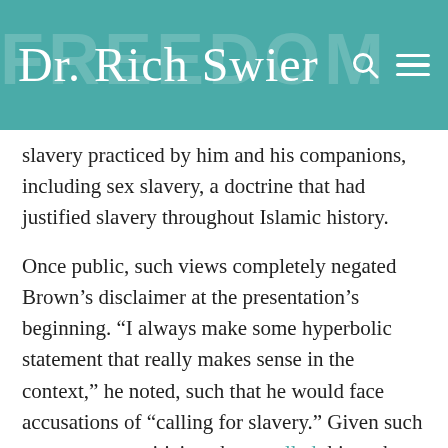Dr. Rich Swier
slavery practiced by him and his companions, including sex slavery, a doctrine that had justified slavery throughout Islamic history.
Once public, such views completely negated Brown’s disclaimer at the presentation’s beginning. “I always make some hyperbolic statement that really makes sense in the context,” he noted, such that he would face accusations of “calling for slavery.” Given such concern over criticism, he expelled this author from the presentation before it started.